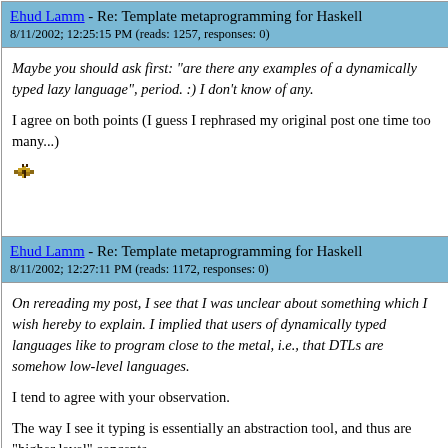Ehud Lamm - Re: Template metaprogramming for Haskell
8/11/2002; 12:25:15 PM (reads: 1257, responses: 0)
Maybe you should ask first: "are there any examples of a dynamically typed lazy language", period. :) I don't know of any.

I agree on both points (I guess I rephrased my original post one time too many...)
[Figure (illustration): Small butterfly/moth pixel art icon]
Ehud Lamm - Re: Template metaprogramming for Haskell
8/11/2002; 12:27:11 PM (reads: 1172, responses: 0)
On rereading my post, I see that I was unclear about something which I wish hereby to explain. I implied that users of dynamically typed languages like to program close to the metal, i.e., that DTLs are somehow low-level languages.

I tend to agree with your observation.

The way I see it typing is essentially an abstraction tool, and thus are "higher level" concepts.
[Figure (illustration): Small butterfly/moth pixel art icon]